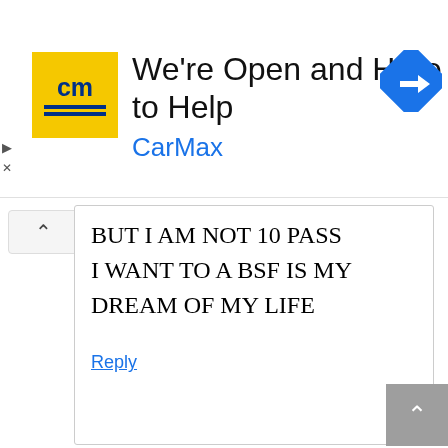[Figure (screenshot): CarMax advertisement banner with yellow CM logo, title 'We're Open and Here to Help', blue 'CarMax' brand text, and a blue road direction sign icon.]
BUT I AM NOT 10 PASS
I WANT TO A BSF IS MY DREAM OF MY LIFE
Reply
Ramesh konanavar
I am interested in bsf my qualification is